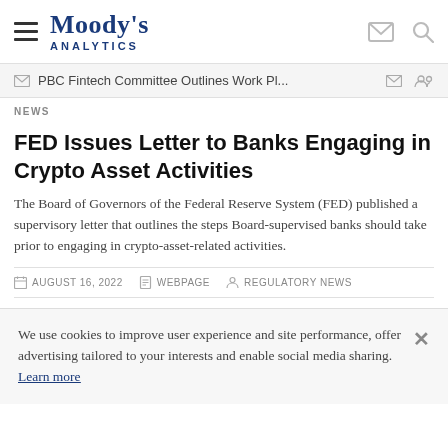Moody's Analytics
PBC Fintech Committee Outlines Work Pl...
NEWS
FED Issues Letter to Banks Engaging in Crypto Asset Activities
The Board of Governors of the Federal Reserve System (FED) published a supervisory letter that outlines the steps Board-supervised banks should take prior to engaging in crypto-asset-related activities.
AUGUST 16, 2022   WEBPAGE   REGULATORY NEWS
We use cookies to improve user experience and site performance, offer advertising tailored to your interests and enable social media sharing. Learn more